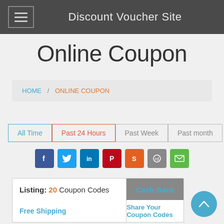Discount Voucher Site
Online Coupon
HOME / ONLINE COUPON
All Time
Past 24 Hours
Past Week
Past month
[Figure (infographic): Social sharing icons: Facebook, Twitter, LinkedIn, Pinterest, StumbleUpon, Reddit, Email]
Listing: 20 Coupon Codes   Cash Back
Free Shipping   Share Your Coupon Codes